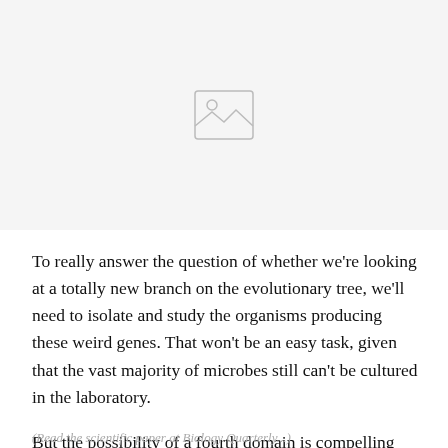[Figure (photo): Placeholder image icon representing an unloaded or missing photograph, shown centered in a light gray area at the top of the page.]
To really answer the question of whether we're looking at a totally new branch on the evolutionary tree, we'll need to isolate and study the organisms producing these weird genes. That won't be an easy task, given that the vast majority of microbes still can't be cultured in the laboratory.

But the possibility of a fourth domain is compelling enough that we're sure as hell going to try.
(Read the scientific paper at Biology Quarterly...)